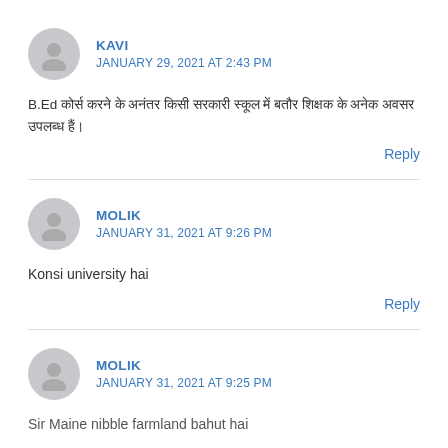KAVI
JANUARY 29, 2021 AT 2:43 PM
B.Ed कोर्स करने के अनंतर किसी सरकारी स्कूल में बतौर शिक्षक के अनेक अवसर उपलब्ध हैं।
Reply
MOLIK
JANUARY 31, 2021 AT 9:26 PM
Konsi university hai
Reply
MOLIK
JANUARY 31, 2021 AT 9:25 PM
Sir Maine nibble farmland bahut hai